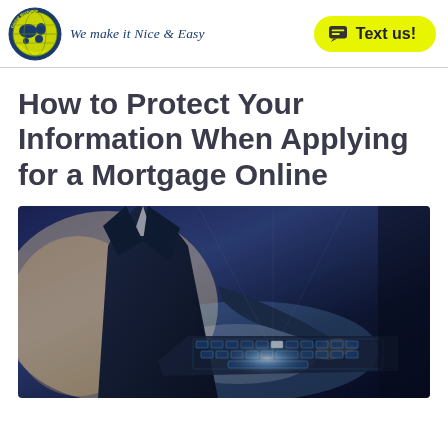We make it Nice & Easy
How to Protect Your Information When Applying for a Mortgage Online
[Figure (photo): Person in business suit typing on a glowing futuristic keyboard/laptop, with bright light emanating from the device, dark blue tones]